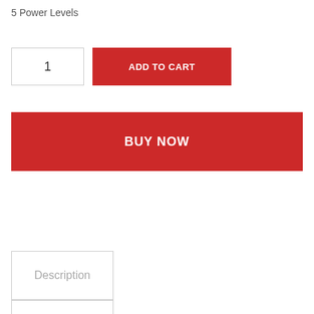5 Power Levels
1
ADD TO CART
BUY NOW
Description